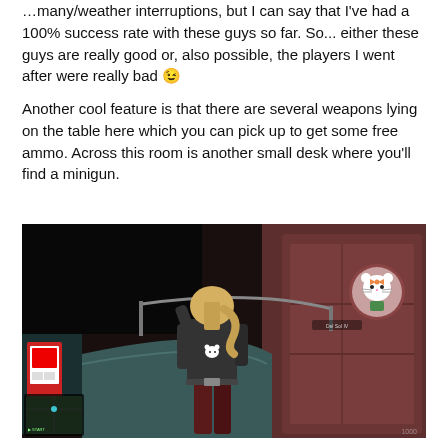…many/weather interruptions, but I can say that I've had a 100% success rate with these guys so far. So... either these guys are really good or, also possible, the players I went after were really bad 😉
Another cool feature is that there are several weapons lying on the table here which you can pick up to get some free ammo. Across this room is another small desk where you'll find a minigun.
[Figure (screenshot): A video game screenshot (GTA V style) showing a character with blonde hair in a dark red outfit with a Hello Kitty logo on the back, standing in a futuristic corridor. The corridor has dark walls, a curved walkway, and a Hello Kitty round decoration/porthole on the right wall. There is a small map/minimap in the bottom-left corner.]